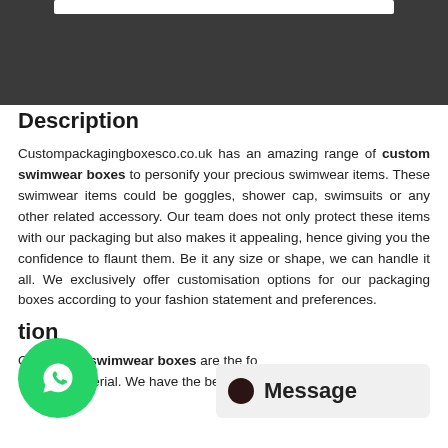[Figure (screenshot): Dark gray header bar at top of page with a white rectangle/input box visible at the top center]
Description
Custompackagingboxesco.co.uk has an amazing range of custom swimwear boxes to personify your precious swimwear items. These swimwear items could be goggles, shower cap, swimsuits or any other related accessory. Our team does not only protect these items with our packaging but also makes it appealing, hence giving you the confidence to flaunt them. Be it any size or shape, we can handle it all. We exclusively offer customisation options for our packaging boxes according to your fashion statement and preferences.
tion
Our custom swimwear boxes are the fo the best material. We have the best solution to your complex
[Figure (logo): WhatsApp circular green button with phone icon]
[Figure (screenshot): Message widget overlay with dark circle dot and 'Message' text on light gray background]